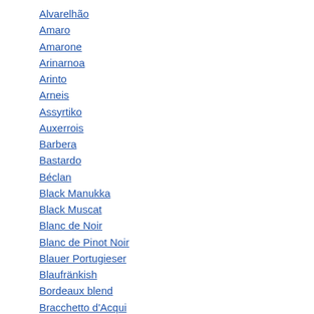Alvarelhão
Amaro
Amarone
Arinarnoa
Arinto
Arneis
Assyrtiko
Auxerrois
Barbera
Bastardo
Béclan
Black Manukka
Black Muscat
Blanc de Noir
Blanc de Pinot Noir
Blauer Portugieser
Blaufränkish
Bordeaux blend
Bracchetto d'Acqui